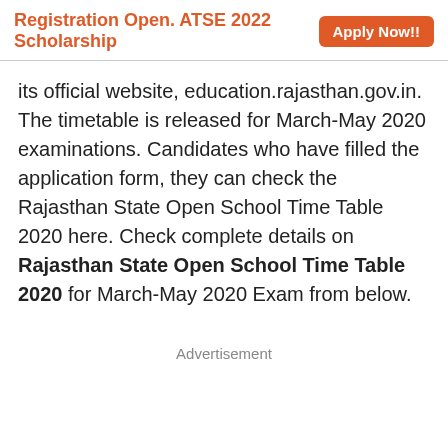Registration Open. ATSE 2022 Scholarship   Apply Now!!
its official website, education.rajasthan.gov.in. The timetable is released for March-May 2020 examinations. Candidates who have filled the application form, they can check the Rajasthan State Open School Time Table 2020 here. Check complete details on Rajasthan State Open School Time Table 2020 for March-May 2020 Exam from below.
Advertisement